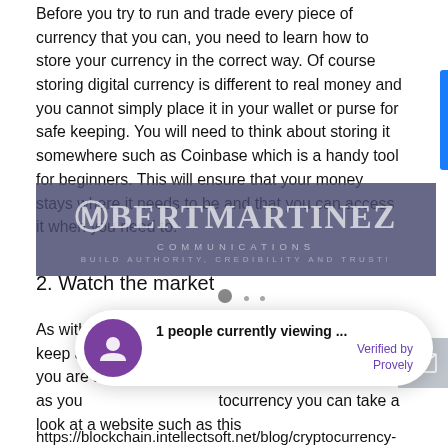Before you try to run and trade every piece of currency that you can, you need to learn how to store your currency in the correct way. Of course storing digital currency is different to real money and you cannot simply place it in your wallet or purse for safe keeping. You will need to think about storing it somewhere such as Coinbase which is a handy tool for beginners. This will ensure that your money stays where it needs to be and that you can access it when you need to.
[Figure (logo): Amber Martinez Communications watermark overlay on text - 'AMBER MARTINEZ COMMUNICATIONS - BUILD AUTHORITY, CREDIBILITY AND TRUST!']
2. Watch the market
As with any type of trading you will need to always keep a careful eye on the market to make sure that you are able to trade ... much money as you ... itocurrency you can take a look at a website such as this
https://blockchain.intellectsoft.net/blog/cryptocurrency-